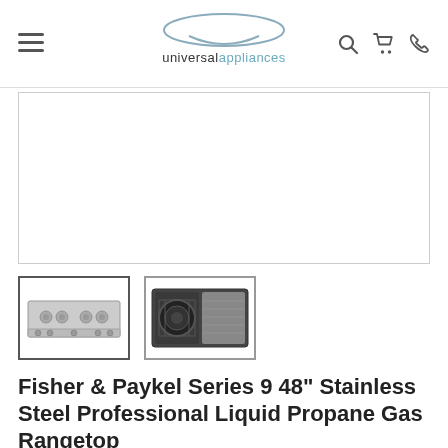universal appliances
[Figure (photo): Main product image area — large white box with light gray border (product image placeholder)]
[Figure (photo): Thumbnail 1: stainless steel rangetop with four burners, front-angled view, selected (active border)]
[Figure (photo): Thumbnail 2: top-down view of rangetop showing burner grates and griddle area]
Fisher & Paykel Series 9 48" Stainless Steel Professional Liquid Propane Gas Rangetop